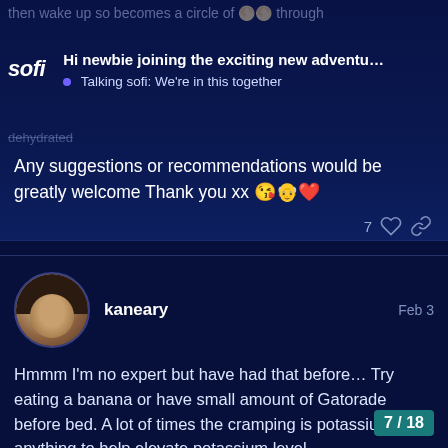then wake up so becomes a circle of 🌕🌕 through t
Hi newbie joining the exciting new adventu… • Talking sofi: We're in this together
dehydrated
Any suggestions or recommendations would be greatly welcome Thank you xx 😘👴❤
7 ♡ 🔗
kaneary Feb 3
Hmmm I'm no expert but have had that before… Try eating a banana or have small amount of Gatorade before bed. A lot of times the cramping is potassium, so anything to help elevate potassium level
7/18